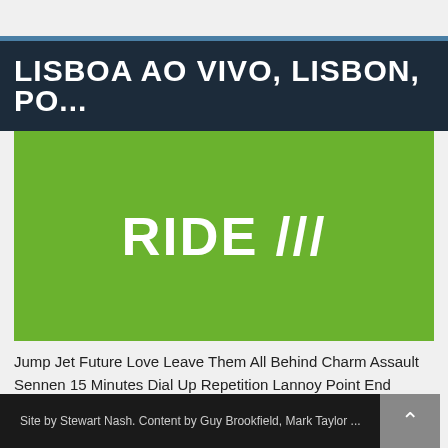LISBOA AO VIVO, LISBON, PO...
[Figure (logo): Green background with white bold text reading RIDE /// (RIDE with three forward slashes)]
Jump Jet Future Love Leave Them All Behind Charm Assault Sennen 15 Minutes Dial Up Repetition Lannoy Point End Game All I Want OX4 Taste Kill Switch
Site by Stewart Nash. Content by Guy Brookfield, Mark Taylor ...